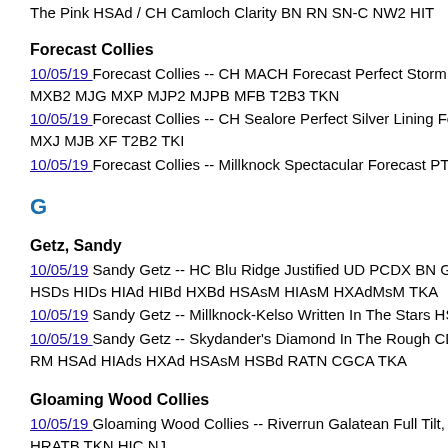The Pink HSAd / CH Camloch Clarity BN RN SN-C NW2 HIT
Forecast Collies
10/05/19 Forecast Collies -- CH MACH Forecast Perfect Storm Danci... MXB2 MJG MXP MJP2 MJPB MFB T2B3 TKN
10/05/19 Forecast Collies -- CH Sealore Perfect Silver Lining Forecas... MXJ MJB XF T2B2 TKI
10/05/19 Forecast Collies -- Millknock Spectacular Forecast PT AX AX...
G
Getz, Sandy
10/05/19 Sandy Getz -- HC Blu Ridge Justified UD PCDX BN GN GO... HSDs HIDs HIAd HIBd HXBd HSAsM HIAsM HXAdMsM TKA
10/05/19 Sandy Getz -- Millknock-Kelso Written In The Stars HSAds H...
10/05/19 Sandy Getz -- Skydander's Diamond In The Rough CD CDX... RM HSAd HIAds HXAd HSAsM HSBd RATN CGCA TKA
Gloaming Wood Collies
10/05/19 Gloaming Wood Collies -- Riverrun Galatean Full Tilt, RI AC... HRATB TKN HIC NJ
10/05/19 Gloaming Wood Collies -- CH Galatean Riverrun Looking G... ROM